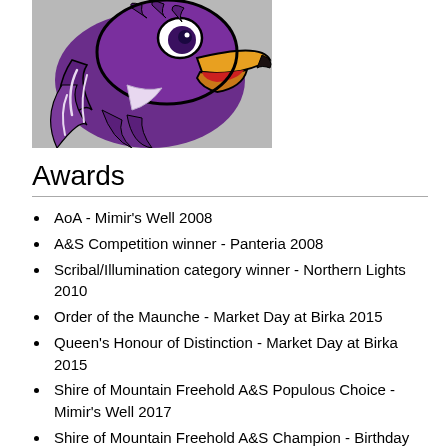[Figure (illustration): Purple bird/hawk mascot illustration with orange/gold beak and black outlines on grey background]
Awards
AoA - Mimir's Well 2008
A&S Competition winner - Panteria 2008
Scribal/Illumination category winner - Northern Lights 2010
Order of the Maunche - Market Day at Birka 2015
Queen's Honour of Distinction - Market Day at Birka 2015
Shire of Mountain Freehold A&S Populous Choice - Mimir's Well 2017
Shire of Mountain Freehold A&S Champion - Birthday Bash 2017